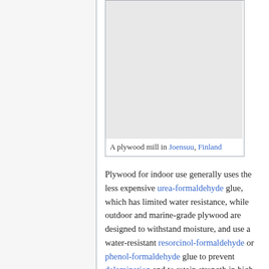[Figure (photo): A plywood mill in Joensuu, Finland — interior/exterior photo, white/grey placeholder area]
A plywood mill in Joensuu, Finland
Plywood for indoor use generally uses the less expensive urea-formaldehyde glue, which has limited water resistance, while outdoor and marine-grade plywood are designed to withstand moisture, and use a water-resistant resorcinol-formaldehyde or phenol-formaldehyde glue to prevent delamination and to retain strength in high humidity.
The adhesives used in plywood have become a point of concern. Both urea